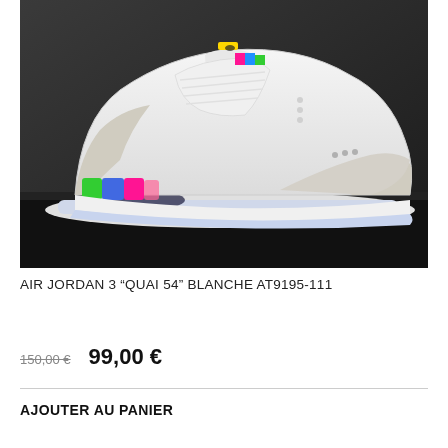[Figure (photo): Air Jordan 3 Quai 54 Blanche sneaker in white with multicolor accents (green, blue, pink on heel and tongue), displayed on a dark box]
AIR JORDAN 3 "QUAI 54" BLANCHE AT9195-111
150,00 €  99,00 €
AJOUTER AU PANIER